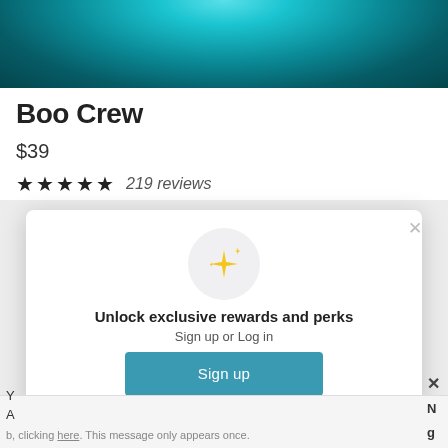[Figure (photo): Product hero image with teal/cyan flowing fabric or light rays on dark background]
Boo Crew
$39
★★★★★ 219 reviews
[Figure (screenshot): Modal popup with sparkle icon, headline 'Unlock exclusive rewards and perks', subtext 'Sign up or Log in', a teal Sign up button, and footer text 'Already have an account? Sign in']
Unlock exclusive rewards and perks
Sign up or Log in
Sign up
Already have an account? Sign in